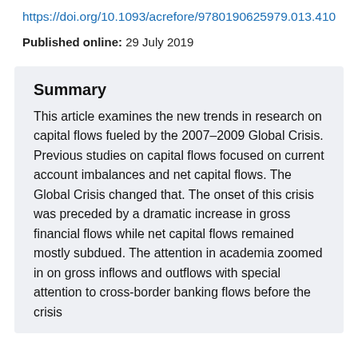https://doi.org/10.1093/acrefore/9780190625979.013.410
Published online: 29 July 2019
Summary
This article examines the new trends in research on capital flows fueled by the 2007–2009 Global Crisis. Previous studies on capital flows focused on current account imbalances and net capital flows. The Global Crisis changed that. The onset of this crisis was preceded by a dramatic increase in gross financial flows while net capital flows remained mostly subdued. The attention in academia zoomed in on gross inflows and outflows with special attention to cross-border banking flows before the crisis